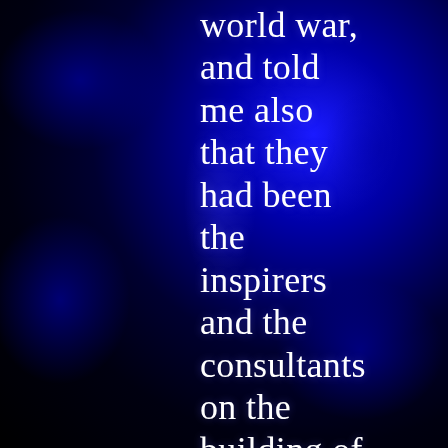world war, and told me also that they had been the inspirers and the consultants on the building of the great pyramids, where they have placed